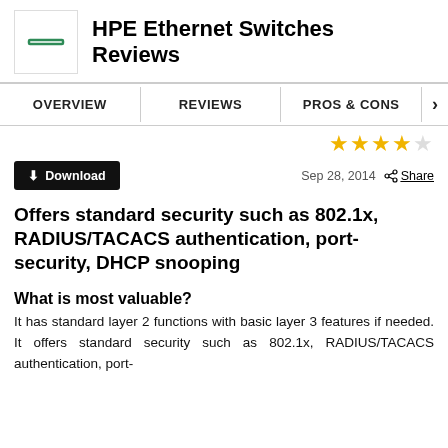HPE Ethernet Switches Reviews
Offers standard security such as 802.1x, RADIUS/TACACS authentication, port-security, DHCP snooping
What is most valuable?
It has standard layer 2 functions with basic layer 3 features if needed. It offers standard security such as 802.1x, RADIUS/TACACS authentication, port-